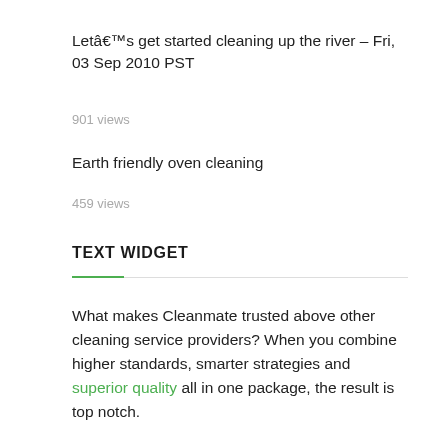Letâ€™s get started cleaning up the river – Fri, 03 Sep 2010 PST
901 views
Earth friendly oven cleaning
459 views
TEXT WIDGET
What makes Cleanmate trusted above other cleaning service providers? When you combine higher standards, smarter strategies and superior quality all in one package, the result is top notch.